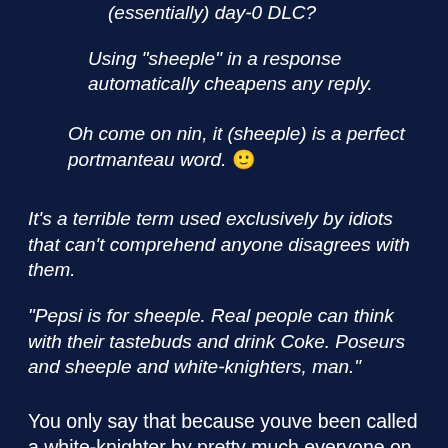(essentially) day-0 DLC?
Using "sheeple" in a response automatically cheapens any reply.
Oh come on nin, it (sheeple) is a perfect portmanteau word. 🙂
It's a terrible term used exclusively by idiots that can't comprehend anyone disagrees with them.
"Pepsi is for sheeple. Real people can think with their tastebuds and drink Coke. Poseurs and sheeple and white-knighters, man."
You only say that because youve been called a white-knighter by pretty much everyone on this